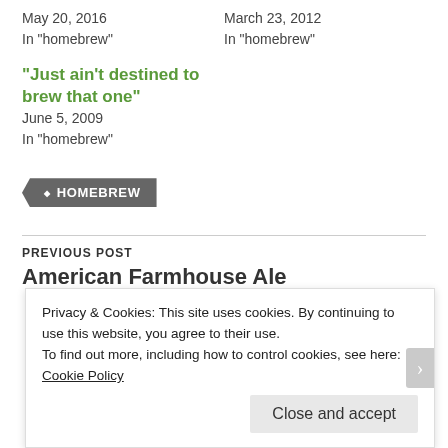May 20, 2016
In "homebrew"
March 23, 2012
In "homebrew"
"Just ain't destined to brew that one"
June 5, 2009
In "homebrew"
HOMEBREW
PREVIOUS POST
American Farmhouse Ale
Privacy & Cookies: This site uses cookies. By continuing to use this website, you agree to their use.
To find out more, including how to control cookies, see here: Cookie Policy
Close and accept